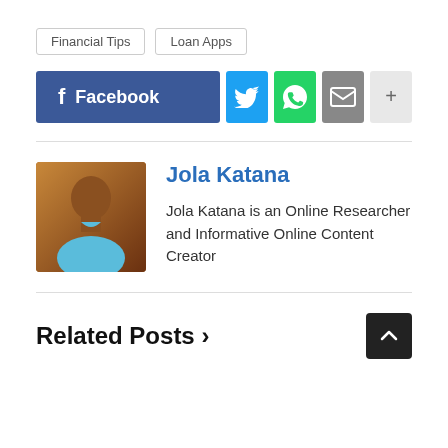Financial Tips
Loan Apps
[Figure (other): Social share buttons row: Facebook, Twitter, WhatsApp, Email, More]
Jola Katana
[Figure (photo): Photo of Jola Katana, a man in a light blue shirt]
Jola Katana is an Online Researcher and Informative Online Content Creator
Related Posts >